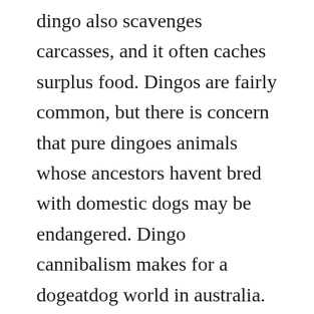dingo also scavenges carcasses, and it often caches surplus food. Dingos are fairly common, but there is concern that pure dingoes animals whose ancestors havent bred with domestic dogs may be endangered. Dingo cannibalism makes for a dogeatdog world in australia. Their diet then consists of meats from birds, lizards, mice, rats, rabbits, sheep, kangaroos and anything else the adult dingoes can kill or scavenge.
The the dingo australias wild dog canis lupus dingo. In the australian desert, dingoes will eat anything to survive even each other